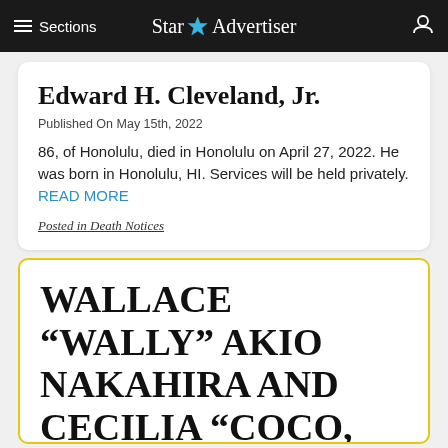Sections | Star Advertiser
Edward H. Cleveland, Jr.
Published On May 15th, 2022
86, of Honolulu, died in Honolulu on April 27, 2022. He was born in Honolulu, HI. Services will be held privately. READ MORE
Posted in Death Notices
WALLACE “WALLY” AKIO NAKAHIRA AND CECILIA “COCO, CECI” EIKO KUULEIALOHA NAKAHIR